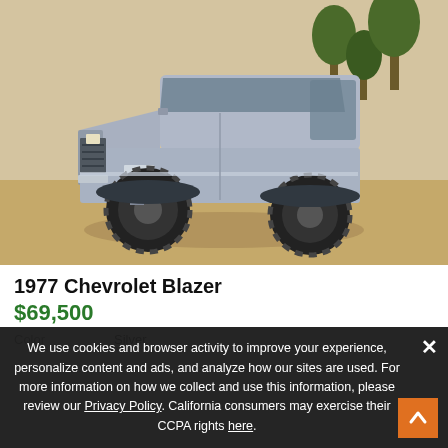[Figure (photo): Silver 1977 Chevrolet Blazer with lift kit and large off-road tires, parked on a sandy/dirt surface with trees in background. Vehicle is silver/chrome colored, front 3/4 view.]
1977 Chevrolet Blazer
$69,500
Color    Silver
We use cookies and browser activity to improve your experience, personalize content and ads, and analyze how our sites are used. For more information on how we collect and use this information, please review our Privacy Policy. California consumers may exercise their CCPA rights here.